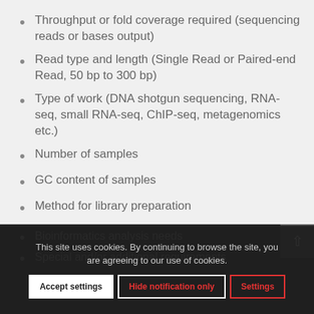Throughput or fold coverage required (sequencing reads or bases output)
Read type and length (Single Read or Paired-end Read, 50 bp to 300 bp)
Type of work (DNA shotgun sequencing, RNA-seq, small RNA-seq, ChIP-seq, metagenomics etc.)
Number of samples
GC content of samples
Method for library preparation
Bioinformatics analysis needs
Special and/or additional requirements
This site uses cookies. By continuing to browse the site, you are agreeing to our use of cookies.